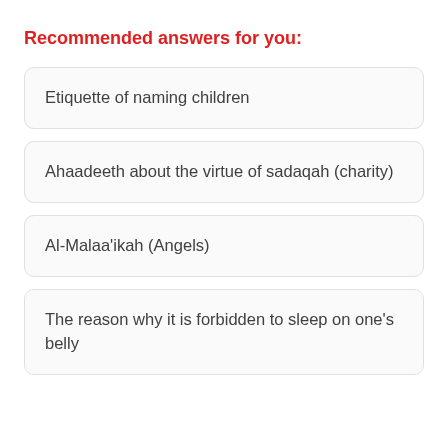Recommended answers for you:
Etiquette of naming children
Ahaadeeth about the virtue of sadaqah (charity)
Al-Malaa'ikah (Angels)
The reason why it is forbidden to sleep on one's belly